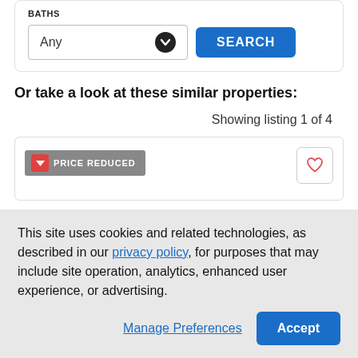BATHS
[Figure (screenshot): Search form with 'Any' dropdown and blue SEARCH button]
Or take a look at these similar properties:
Showing listing 1 of 4
[Figure (screenshot): Listing card with PRICE REDUCED badge and heart/favorite button]
This site uses cookies and related technologies, as described in our privacy policy, for purposes that may include site operation, analytics, enhanced user experience, or advertising.
Manage Preferences
Accept